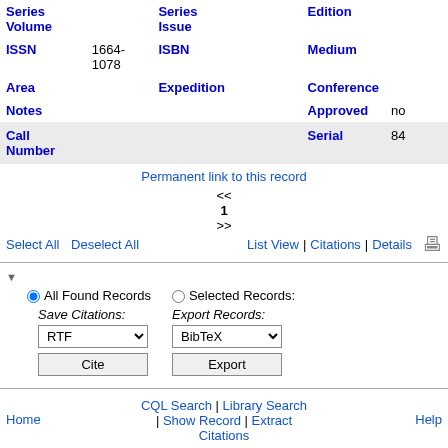| Series Volume |  | Series Issue |  | Edition |  |
| ISSN | 1664-1078 | ISBN |  | Medium |  |
| Area |  | Expedition |  | Conference |  |
| Notes |  |  |  | Approved | no |
| Call Number |  |  |  | Serial | 84 |
Permanent link to this record
<< 1 >>
Select All   Deselect All   List View | Citations | Details
All Found Records   Selected Records:
Save Citations: RTF   Export Records: BibTeX
Cite   Export
CQL Search | Library Search | Show Record | Extract Citations
Home   Help